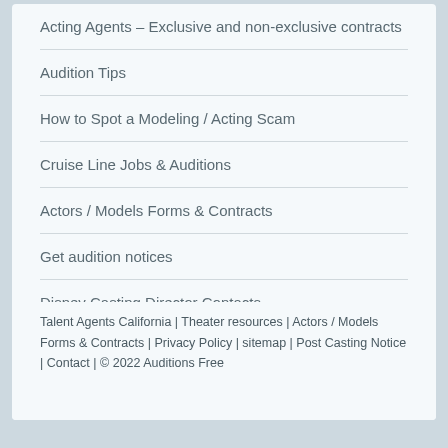Acting Agents – Exclusive and non-exclusive contracts
Audition Tips
How to Spot a Modeling / Acting Scam
Cruise Line Jobs & Auditions
Actors / Models Forms & Contracts
Get audition notices
Disney Casting Director Contacts
Soap Opera Casting Directors
Auditions Free Disclaimer about Notices
Talent Agents California | Theater resources | Actors / Models Forms & Contracts | Privacy Policy | sitemap | Post Casting Notice | Contact | © 2022 Auditions Free